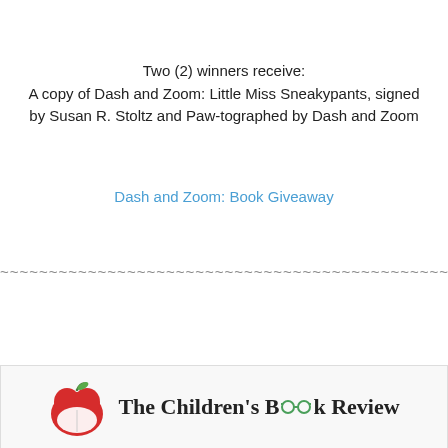Two (2) winners receive:
A copy of Dash and Zoom: Little Miss Sneakypants, signed by Susan R. Stoltz and Paw-tographed by Dash and Zoom
Dash and Zoom: Book Giveaway
~~~~~~~~~~~~~~~~~~~~~~~~~~~~~~~~~~~~~~~~~~~~~~~~
[Figure (logo): The Children's Book Review logo with a red apple icon and the text 'The Children's Book Review' with glasses replacing the letter 'o' in Book]